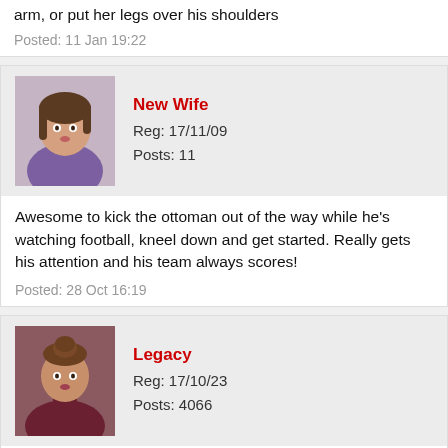arm, or put her legs over his shoulders
Posted: 11 Jan 19:22
New Wife
Reg: 17/11/09
Posts: 11
Awesome to kick the ottoman out of the way while he's watching football, kneel down and get started. Really gets his attention and his team always scores!
Posted: 28 Oct 16:19
Legacy
Reg: 17/10/23
Posts: 4066
Did this to my boyfriend a few days ago for the 2nd time, and this time.......